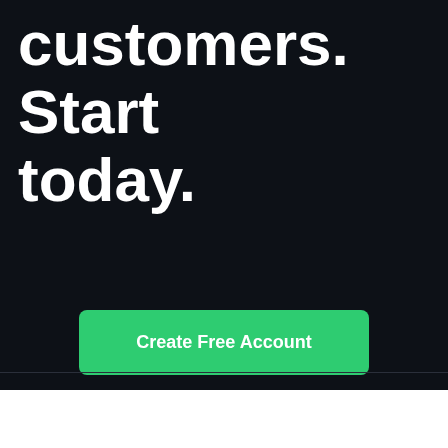customers. Start today.
Create Free Account